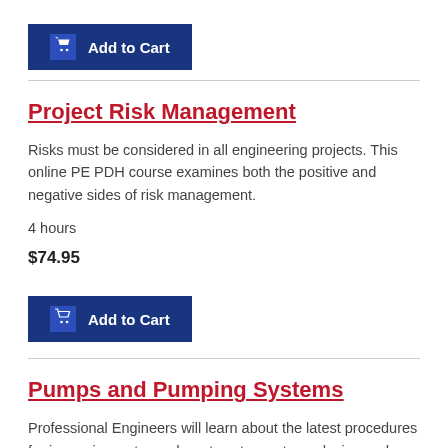[Figure (other): Add to Cart button with shopping cart icon]
Project Risk Management
Risks must be considered in all engineering projects. This online PE PDH course examines both the positive and negative sides of risk management.
4 hours
$74.95
[Figure (other): Add to Cart button with shopping cart icon]
Pumps and Pumping Systems
Professional Engineers will learn about the latest procedures for improving water and wastewater systems design and operation.